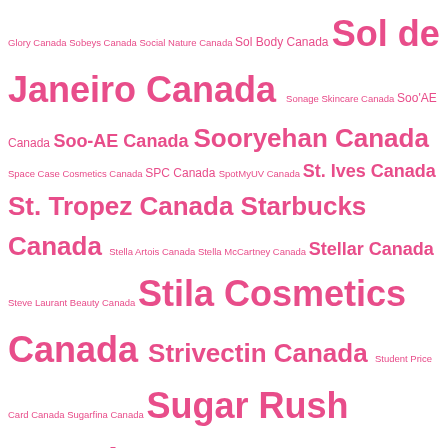Glory Canada Sobeys Canada Social Nature Canada Sol Body Canada Sol de Janeiro Canada Sonage Skincare Canada Soo'AE Canada Soo-AE Canada Sooryehan Canada Space Case Cosmetics Canada SPC Canada SpotMyUV Canada St. Ives Canada St. Tropez Canada Starbucks Canada Stella Artois Canada Stella McCartney Canada Stellar Canada Steve Laurant Beauty Canada Stila Cosmetics Canada Strivectin Canada Student Price Card Canada Sugarfina Canada Sugar Rush Canada Sukin Canada Sulwhasoo Canada Summer's Eve Canada Summer Fridays Canada Sunday Riley Canada Sunstar GUM Canada Sunthera3 Canada Supercharged Naturals Canada Supreme New York Canada Susanne Kaufmann Canada Suzanne Somers Canada Swiss Army Canada Symphony Beauty Canada T3 Canada Taco Bell Canada Tanit Botanics Canada Tarte Cosmetics Canada Tasty Rewards Canada Tata Harper Canada Tatcha Canada Tati Beauty Canada Tazo Canada Teaology Canada Teeez Cosmetics Canada Tetley Canada The Art of Makeup Canada